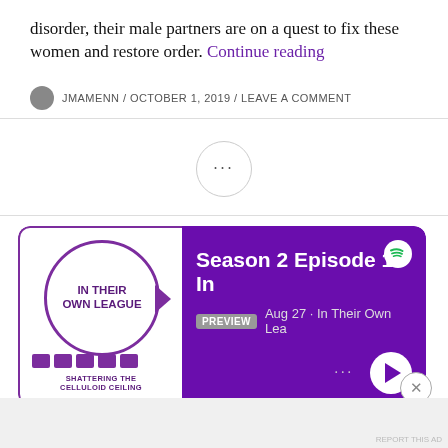disorder, their male partners are on a quest to fix these women and restore order. Continue reading
JMAMENN / OCTOBER 1, 2019 / LEAVE A COMMENT
[Figure (other): Ellipsis circle button (three dots) centered on the page]
[Figure (other): Spotify podcast card for 'In Their Own League - Shattering the Celluloid Ceiling', showing Season 2 Episode 1, Aug 27, with preview badge and play button]
Advertisements